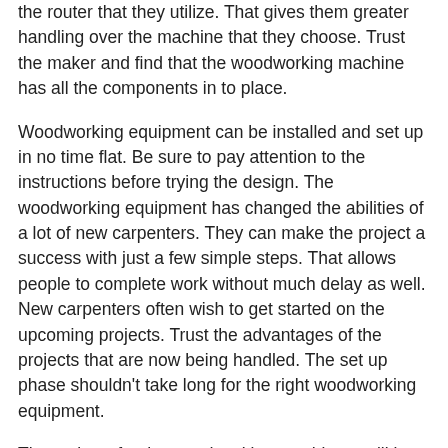the router that they utilize. That gives them greater handling over the machine that they choose. Trust the maker and find that the woodworking machine has all the components in to place.
Woodworking equipment can be installed and set up in no time flat. Be sure to pay attention to the instructions before trying the design. The woodworking equipment has changed the abilities of a lot of new carpenters. They can make the project a success with just a few simple steps. That allows people to complete work without much delay as well. New carpenters often wish to get started on the upcoming projects. Trust the advantages of the projects that are now being handled. The set up phase shouldn't take long for the right woodworking equipment.
The reviews for the woodworking machinery will be vital information. These reviews are composed by users who have seen their projects work over time. The woodworking machinery has astounded new users with what can be done. Now people can share the information by writing some cogent reviews through a simple source. The woodworking machinery company will also appreciate the added feedback. Think about the important new reviews and how that could direct people towards some important projects. Write new reviews and make the work possible over time as well.